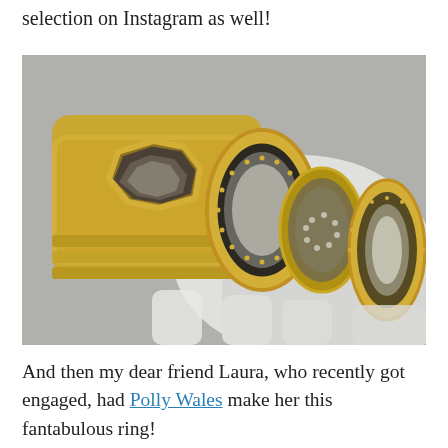selection on Instagram as well!
[Figure (photo): Close-up photograph of multiple gold rings with large faceted diamond stones, worn on a hand covered by a white glove. The rings feature bezel-set diamonds and ornate milgrain detailing.]
And then my dear friend Laura, who recently got engaged, had Polly Wales make her this fantabulous ring!